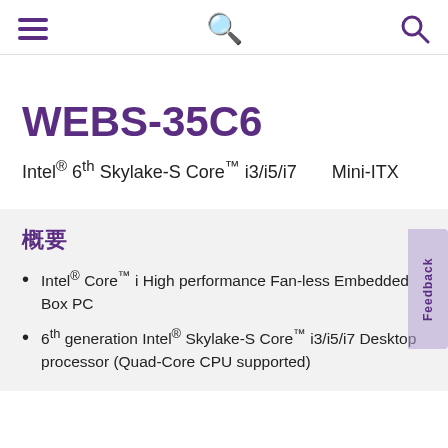WEBS-35C6 product page header with hamburger menu and search icon
WEBS-35C6
Intel® 6th Skylake-S Core™ i3/i5/i7    Mini-ITX
概要
Intel® Core™ i High performance Fan-less Embedded Box PC
6th generation Intel® Skylake-S Core™ i3/i5/i7 Desktop processor (Quad-Core CPU supported)